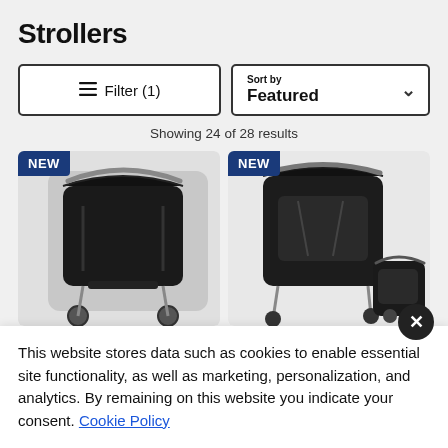Strollers
Filter (1)
Sort by Featured
Showing 24 of 28 results
[Figure (photo): Two stroller product cards with NEW badges. Left card shows a dark/black stroller seat close-up. Right card shows a dark stroller travel system with car seat attachment.]
This website stores data such as cookies to enable essential site functionality, as well as marketing, personalization, and analytics. By remaining on this website you indicate your consent. Cookie Policy